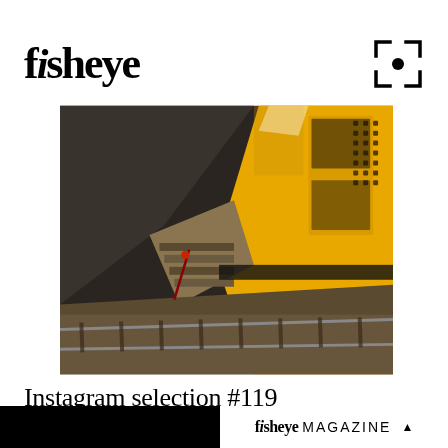fisheye
[Figure (photo): Aerial view of a yellow train at a station platform with railway tracks visible below, shot from above at an angle. The yellow train car shows windows and doors. Railway tracks and gravel ballast are visible in the lower portion of the image. Dark concrete platform on the left side.]
Instagram selection #119
INSTAGRAM • 5 YEARS AGO
fisheye MAGAZINE